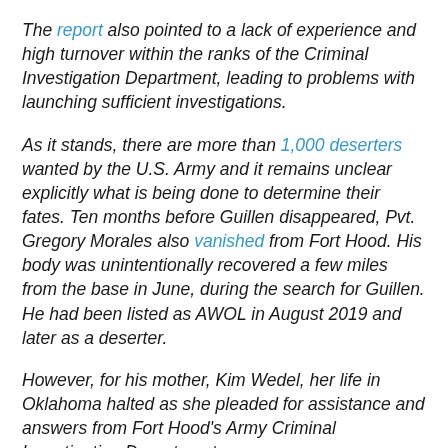The report also pointed to a lack of experience and high turnover within the ranks of the Criminal Investigation Department, leading to problems with launching sufficient investigations.
As it stands, there are more than 1,000 deserters wanted by the U.S. Army and it remains unclear explicitly what is being done to determine their fates. Ten months before Guillen disappeared, Pvt. Gregory Morales also vanished from Fort Hood. His body was unintentionally recovered a few miles from the base in June, during the search for Guillen. He had been listed as AWOL in August 2019 and later as a deserter.
However, for his mother, Kim Wedel, her life in Oklahoma halted as she pleaded for assistance and answers from Fort Hood's Army Criminal Investigation Department